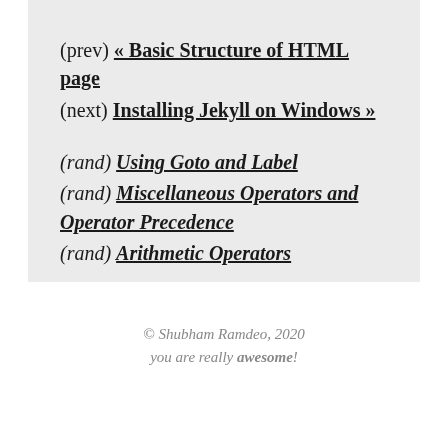(prev) « Basic Structure of HTML page
(next) Installing Jekyll on Windows »
(rand) Using Goto and Label
(rand) Miscellaneous Operators and Operator Precedence
(rand) Arithmetic Operators
© Shubham Ramdeo, 2020
you are really awesome!